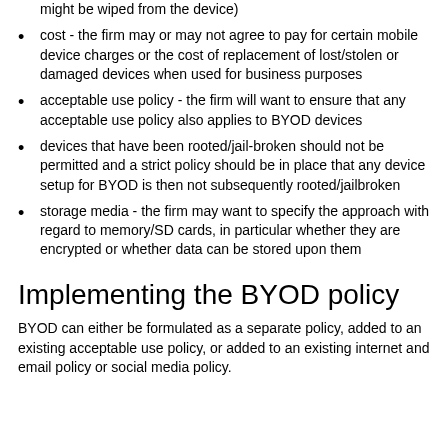might be wiped from the device)
cost - the firm may or may not agree to pay for certain mobile device charges or the cost of replacement of lost/stolen or damaged devices when used for business purposes
acceptable use policy - the firm will want to ensure that any acceptable use policy also applies to BYOD devices
devices that have been rooted/jail-broken should not be permitted and a strict policy should be in place that any device setup for BYOD is then not subsequently rooted/jailbroken
storage media - the firm may want to specify the approach with regard to memory/SD cards, in particular whether they are encrypted or whether data can be stored upon them
Implementing the BYOD policy
BYOD can either be formulated as a separate policy, added to an existing acceptable use policy, or added to an existing internet and email policy or social media policy.